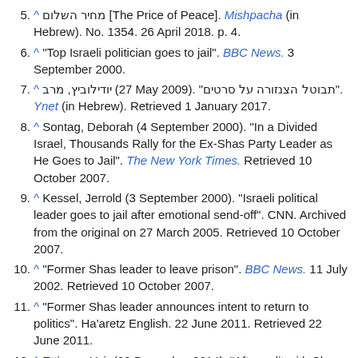5. ^ מחיר השלום [The Price of Peace]. Mishpacha (in Hebrew). No. 1354. 26 April 2018. p. 4.
6. ^ "Top Israeli politician goes to jail". BBC News. 3 September 2000.
7. ^ יודילוביץ, מרב (27 May 2009). "תבוטל הצנזורה על סרטים". Ynet (in Hebrew). Retrieved 1 January 2017.
8. ^ Sontag, Deborah (4 September 2000). "In a Divided Israel, Thousands Rally for the Ex-Shas Party Leader as He Goes to Jail". The New York Times. Retrieved 10 October 2007.
9. ^ Kessel, Jerrold (3 September 2000). "Israeli political leader goes to jail after emotional send-off". CNN. Archived from the original on 27 March 2005. Retrieved 10 October 2007.
10. ^ "Former Shas leader to leave prison". BBC News. 11 July 2002. Retrieved 10 October 2007.
11. ^ "Former Shas leader announces intent to return to politics". Ha'aretz English. 22 June 2011. Retrieved 22 June 2011.
12. ^ Ettinger, Yair (29 December 2014). "After split with Shas, Yishai releases 'doomsday weapon' tape on Deri". Haaretz. Retrieved 17 March 2015.
13. ^ Interior Minister Shal Leader Deri Resigns From Knesset Yeshiva World. 31 October 2016.